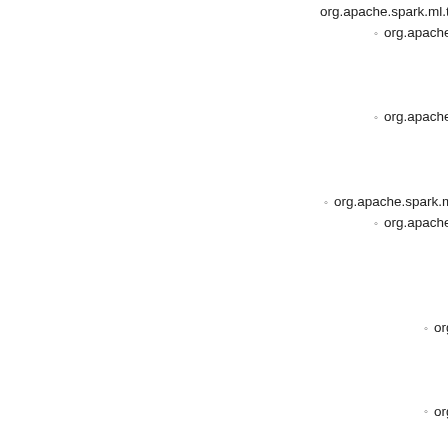org.apache.spark.ml.tree.T...
org.apache.spark.ml.... (also extends org.apache.spark.ml.... org.apache.spark.ml....)
org.apache.spark.ml.... (also extends org.apache.spark.ml.... org.apache.spark.ml....)
org.apache.spark.ml.param.shared.Ha...
org.apache.spark.ml.tree.GBTPa... (also extends org.apache.spark.ml.param.shar... org.apache.spark.ml.param.shar... org.apache.spark.ml.tree.TreeEn...)
org.apache.spark.ml.tree.G... (also extends org.apache.spark.ml.tree.H... org.apache.spark.ml.tree.T...)
org.apache.spark.ml.tree.G... (also extends org.apache.spark.ml.tree.T... org.apache.spark.ml.tree.T...)
org.apache.spark.ml.param.shared.Ha...
org.apache.spark.ml.tree.Decisi... (also extends org.apache.spark.ml.tree.Decisio... org.apache.spark.ml.tree.TreeRe...)